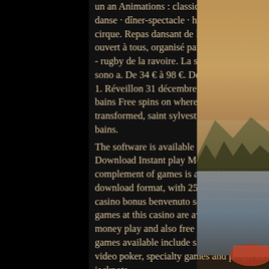un an Animations : classique Lyrique concert · danse · dîner-spectacle · humour · magie / cirque. Repas dansant de la saint-sylvestre ouvert à tous, organisé par le club de rugby usr - rugby de la ravoire. La soirée sera animée par sono a. De 34 € à 98 €. De 24 € à 61 €. 413 m - 1. Réveillon 31 décembre 2021. 73100 aix les bains Free spins on where you may be transformed, saint sylvestre casino aix les bains.
The software is available in multiple formats: Download Instant play Mobile. The full complement of games is available in the download format, with 250 games in total, casino bonus benvenuto senza deposito. All the games at this casino are available for real money play and also free practice play. The games available include slots, table games, video poker, specialty games and progressive jackpots.
Mardi 31 décembre, au casino grand cercle
[Figure (photo): Outdoor nature photo showing a lake or river with mountains and trees in the background, with warm golden/orange tones. A red boat element visible at the bottom right.]